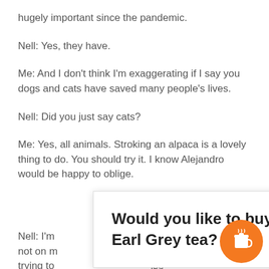hugely important since the pandemic.
Nell: Yes, they have.
Me: And I don't think I'm exaggerating if I say you dogs and cats have saved many people's lives.
Nell: Did you just say cats?
Me: Yes, all animals. Stroking an alpaca is a lovely thing to do. You should try it. I know Alejandro would be happy to oblige.
Nell: I'm [partial] lpacas is not on m [partial] advise trying to [partial] lse and fake [partial]
[Figure (infographic): White popup box with bold text: 'Would you like to buy Sara a cup of Earl Grey tea?' with an orange circular button containing a coffee cup icon in the bottom right corner.]